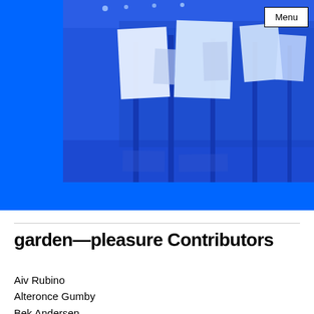[Figure (photo): Interior of an art gallery with large white rectangular panels or signs hanging from the ceiling, bathed in blue light. The scene shows an installation artwork with tall vertical supports and suspended flat white rectangular shapes at various angles.]
garden—pleasure Contributors
Aiv Rubino
Alteronce Gumby
Bek Andersen
Camille Abro...